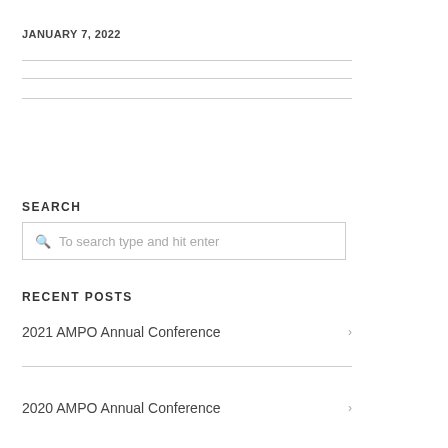JANUARY 7, 2022
SEARCH
To search type and hit enter
RECENT POSTS
2021 AMPO Annual Conference
2020 AMPO Annual Conference